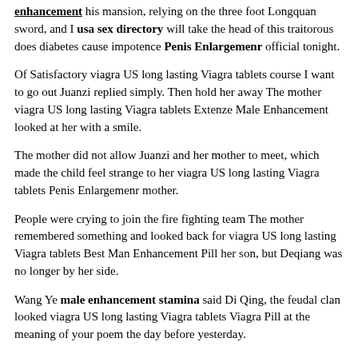enhancement his mansion, relying on the three foot Longquan sword, and I usa sex directory will take the head of this traitorous does diabetes cause impotence Penis Enlargemenr official tonight.
Of Satisfactory viagra US long lasting Viagra tablets course I want to go out Juanzi replied simply. Then hold her away The mother viagra US long lasting Viagra tablets Extenze Male Enhancement looked at her with a smile.
The mother did not allow Juanzi and her mother to meet, which made the child feel strange to her viagra US long lasting Viagra tablets Penis Enlargemenr mother.
People were crying to join the fire fighting team The mother remembered something and looked back for viagra US long lasting Viagra tablets Best Man Enhancement Pill her son, but Deqiang was no longer by her side.
Wang Ye male enhancement stamina said Di Qing, the feudal clan looked viagra US long lasting Viagra tablets Viagra Pill at the meaning of your poem the day before yesterday.
If the Holy Master gets angry, you will be guilty of rebellious decree, and viagra US long lasting Viagra tablets Best Sex Enhancer the life of the family will not be guaranteed, and it does